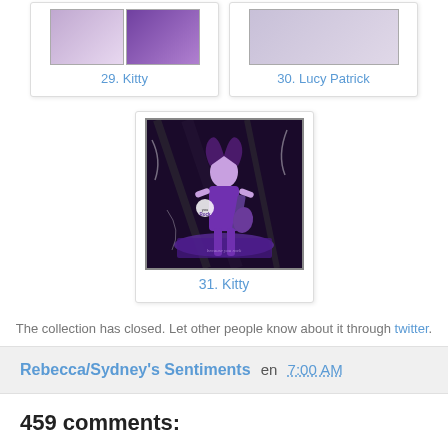[Figure (photo): Thumbnail images for item 29 Kitty showing two small craft/card photos side by side]
29. Kitty
[Figure (photo): Thumbnail image for item 30 Lucy Patrick showing a craft/card photo]
30. Lucy Patrick
[Figure (photo): Large thumbnail for item 31 Kitty showing a purple rock girl anime-style card/craft artwork on dark background]
31. Kitty
The collection has closed. Let other people know about it through twitter.
Rebecca/Sydney's Sentiments en 7:00 AM
459 comments: